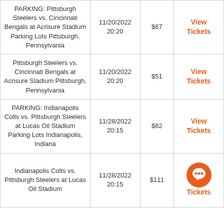| Event | Date/Time | Price | Action |
| --- | --- | --- | --- |
| PARKING: Pittsburgh Steelers vs. Cincinnati Bengals at Acrisure Stadium Parking Lots Pittsburgh, Pennsylvania | 11/20/2022 20:20 | $67 | View Tickets |
| Pittsburgh Steelers vs. Cincinnati Bengals at Acrisure Stadium Pittsburgh, Pennsylvania | 11/20/2022 20:20 | $51 | View Tickets |
| PARKING: Indianapolis Colts vs. Pittsburgh Steelers at Lucas Oil Stadium Parking Lots Indianapolis, Indiana | 11/28/2022 20:15 | $62 | View Tickets |
| Indianapolis Colts vs. Pittsburgh Steelers at Lucas Oil Stadium | 11/28/2022 20:15 | $111 | View Tickets |